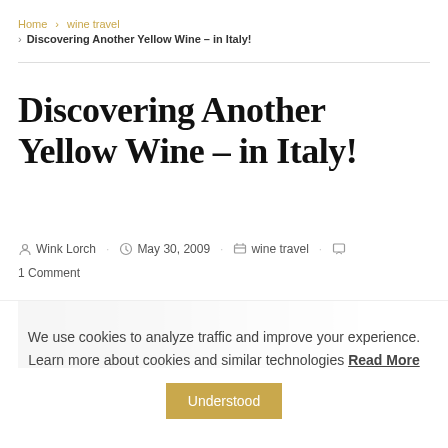Home > wine travel
> Discovering Another Yellow Wine – in Italy!
Discovering Another Yellow Wine – in Italy!
Wink Lorch  May 30, 2009  wine travel  1 Comment
[Figure (photo): Dark photo strip showing a wine bottle or glass, fading from dark to light]
We use cookies to analyze traffic and improve your experience. Learn more about cookies and similar technologies Read More  Understood